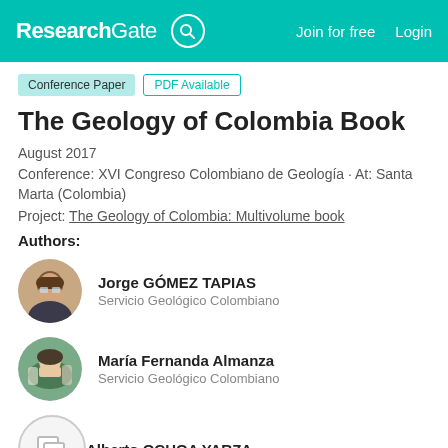ResearchGate  Join for free  Login
Conference Paper  PDF Available
The Geology of Colombia Book
August 2017
Conference: XVI Congreso Colombiano de Geología · At: Santa Marta (Colombia)
Project: The Geology of Colombia: Multivolume book
Authors:
Jorge GÓMEZ TAPIAS
Servicio Geológico Colombiano
María Fernanda Almanza
Servicio Geológico Colombiano
Alberto OCHOA YARZA